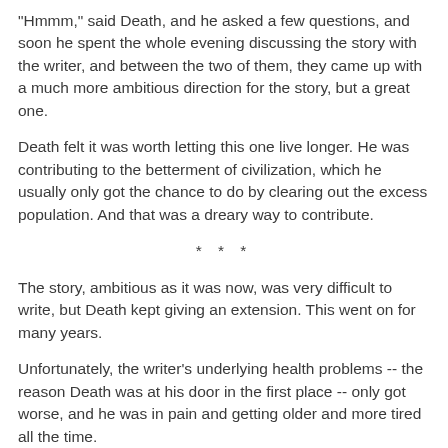"Hmmm," said Death, and he asked a few questions, and soon he spent the whole evening discussing the story with the writer, and between the two of them, they came up with a much more ambitious direction for the story, but a great one.
Death felt it was worth letting this one live longer. He was contributing to the betterment of civilization, which he usually only got the chance to do by clearing out the excess population. And that was a dreary way to contribute.
* * *
The story, ambitious as it was now, was very difficult to write, but Death kept giving an extension. This went on for many years.
Unfortunately, the writer's underlying health problems -- the reason Death was at his door in the first place -- only got worse, and he was in pain and getting older and more tired all the time.
So finally one day Death showed up at the writer's door and